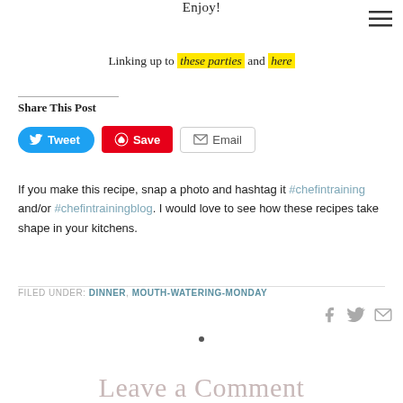Enjoy!
Linking up to these parties and here
Share This Post
If you make this recipe, snap a photo and hashtag it #chefintraining and/or #chefintrainingblog. I would love to see how these recipes take shape in your kitchens.
FILED UNDER: DINNER, MOUTH-WATERING-MONDAY
Leave a Comment